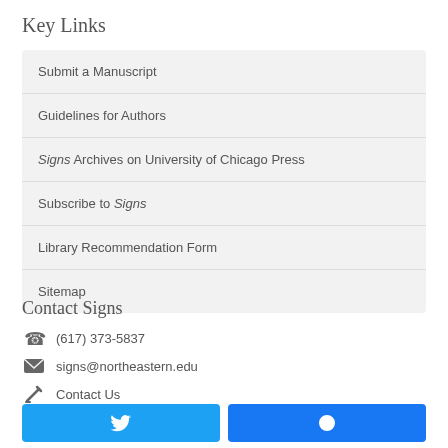Key Links
Submit a Manuscript
Guidelines for Authors
Signs Archives on University of Chicago Press
Subscribe to Signs
Library Recommendation Form
Sitemap
Contact Signs
(617) 373-5837
signs@northeastern.edu
Contact Us
[Figure (other): Twitter and Facebook social media buttons]